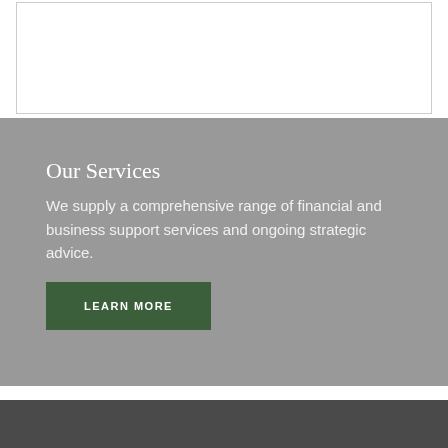[Figure (other): White box/image placeholder with gray border at top of page]
Our Services
We supply a comprehensive range of financial and business support services and ongoing strategic advice.
LEARN MORE